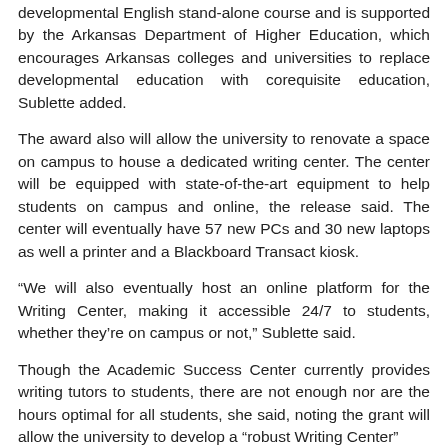developmental English stand-alone course and is supported by the Arkansas Department of Higher Education, which encourages Arkansas colleges and universities to replace developmental education with corequisite education, Sublette added.
The award also will allow the university to renovate a space on campus to house a dedicated writing center. The center will be equipped with state-of-the-art equipment to help students on campus and online, the release said. The center will eventually have 57 new PCs and 30 new laptops as well a printer and a Blackboard Transact kiosk.
“We will also eventually host an online platform for the Writing Center, making it accessible 24/7 to students, whether they’re on campus or not,” Sublette said.
Though the Academic Success Center currently provides writing tutors to students, there are not enough nor are the hours optimal for all students, she said, noting the grant will allow the university to develop a “robust Writing Center”